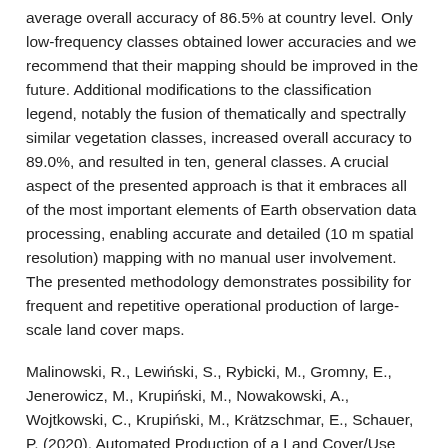average overall accuracy of 86.5% at country level. Only low-frequency classes obtained lower accuracies and we recommend that their mapping should be improved in the future. Additional modifications to the classification legend, notably the fusion of thematically and spectrally similar vegetation classes, increased overall accuracy to 89.0%, and resulted in ten, general classes. A crucial aspect of the presented approach is that it embraces all of the most important elements of Earth observation data processing, enabling accurate and detailed (10 m spatial resolution) mapping with no manual user involvement. The presented methodology demonstrates possibility for frequent and repetitive operational production of large-scale land cover maps.
Malinowski, R., Lewiński, S., Rybicki, M., Gromny, E., Jenerowicz, M., Krupiński, M., Nowakowski, A., Wojtkowski, C., Krupiński, M., Krätzschmar, E., Schauer, P. (2020), Automated Production of a Land Cover/Use Map of Europe Based on Sentinel-2 Imagery doi:10.3390/rs12213523